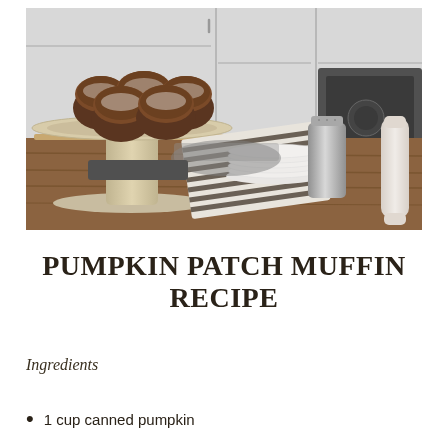[Figure (photo): Photo of pumpkin muffins dusted with powdered sugar on a glass cake stand on a wooden table, with a striped linen towel, stacked white plates, a metal sugar shaker, and a rolling pin, set against white kitchen cabinets]
PUMPKIN PATCH MUFFIN RECIPE
Ingredients
1 cup canned pumpkin